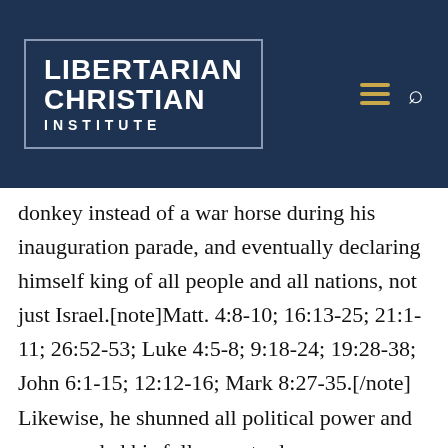[Figure (logo): Libertarian Christian Institute logo with white text on dark navy blue background, with a border rectangle around the text. To the right are a gold/yellow hamburger menu icon and a white search icon.]
donkey instead of a war horse during his inauguration parade, and eventually declaring himself king of all people and all nations, not just Israel.[note]Matt. 4:8-10; 16:13-25; 21:1-11; 26:52-53; Luke 4:5-8; 9:18-24; 19:28-38; John 6:1-15; 12:12-16; Mark 8:27-35.[/note] Likewise, he shunned all political power and commanded his followers to do